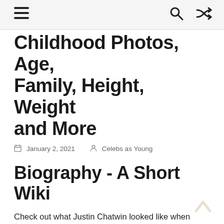☰ 🔍 ⇄
Childhood Photos, Age, Family, Height, Weight and More
January 2, 2021  Celebs as Young
Biography - A Short Wiki
Check out what Justin Chatwin looked like when being younger, net worth, body statistics, and more facts!
Justin Chatwin is a famous actor from Canada. He has appeared in films like Dragonball Evolution, War of the Worlds, and The Invisible, all of which are studio feature films. In 2014 he had a supporting role in the